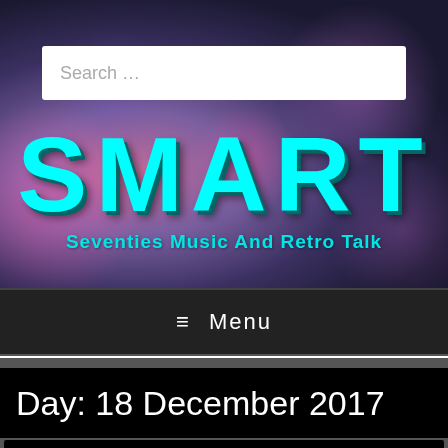[Figure (screenshot): Blurred bokeh background with purple/magenta tones for the SMART website hero section]
Search ...
SMART
Seventies Music And Retro Talk
≡  Menu
Day: 18 December 2017